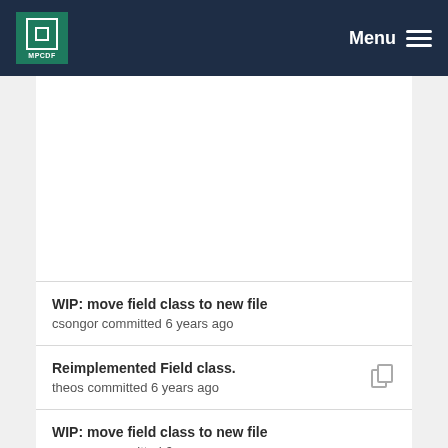MPCDF Menu
WIP: move field class to new file
csongor committed 6 years ago
Reimplemented Field class.
theos committed 6 years ago
WIP: move field class to new file
csongor committed 6 years ago
Reimplemented Field class.
theos committed 6 years ago
WIP: move field class to new file
csongor committed 6 years ago
Reimplemented Field class.